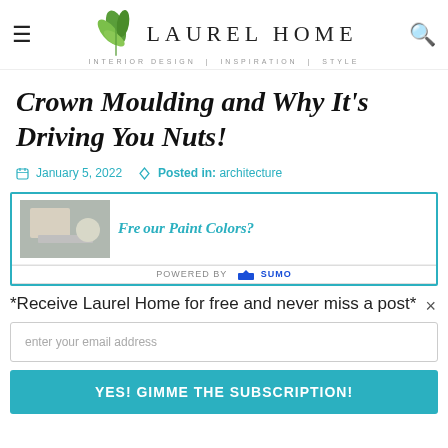LAUREL HOME — INTERIOR DESIGN | INSPIRATION | STYLE
Crown Moulding and Why It's Driving You Nuts!
January 5, 2022   Posted in: architecture
[Figure (other): Banner ad partially visible: 'Free [something] our Paint Colors?' with a thumbnail image on the left. Overlaid with a POWERED BY SUMO bar.]
*Receive Laurel Home for free and never miss a post*
enter your email address
YES! GIMME THE SUBSCRIPTION!